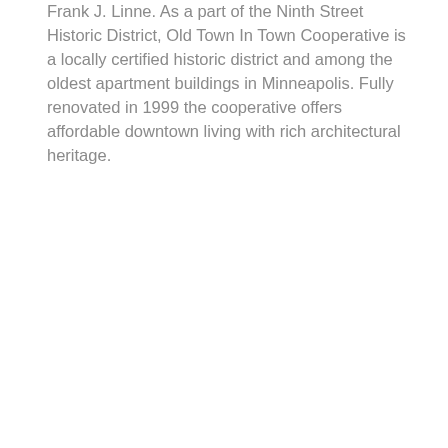Frank J. Linne. As a part of the Ninth Street Historic District, Old Town In Town Cooperative is a locally certified historic district and among the oldest apartment buildings in Minneapolis. Fully renovated in 1999 the cooperative offers affordable downtown living with rich architectural heritage.